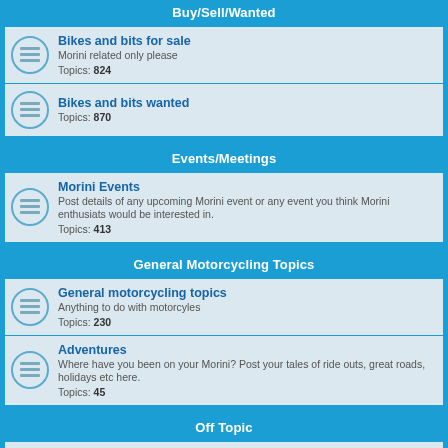Buy/Sell/Wanted
Bikes and bits for sale
Morini related only please
Topics: 824
Bikes and bits wanted
Topics: 870
Events/Meetings
Morini Events
Post details of any upcoming Morini event or any event you think Morini enthusiats would be interested in.
Topics: 413
General Motorcycling Topics
General motorcycling topics
Anything to do with motorcyles
Topics: 230
Adventures
Where have you been on your Morini? Post your tales of ride outs, great roads, holidays etc here.
Topics: 45
Off Topic
Bar Tabac des Sports
Park up, come in and have an espresso. Chat about anything but please keep it clean with no swearing please.